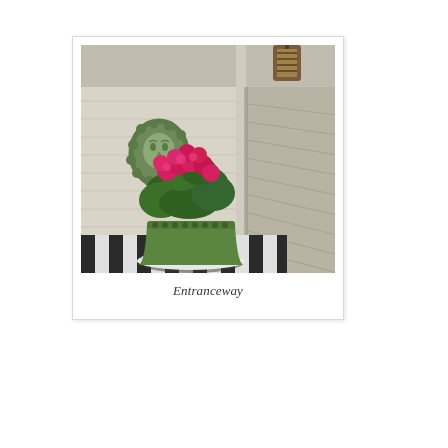[Figure (photo): A porch entranceway with a green ceramic pot holding bright pink/red geranium flowers, placed on a black and white striped mat in the corner of white horizontal lap siding. A decorative face wall plaque and a lantern light are visible on the wall and ceiling.]
Entranceway